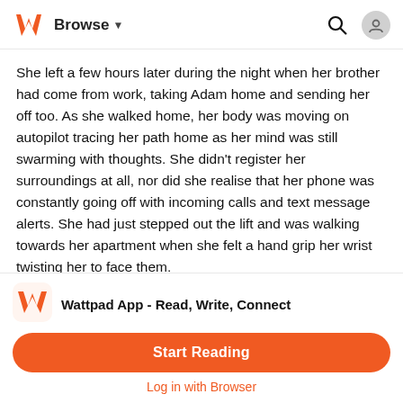Browse
She left a few hours later during the night when her brother had come from work, taking Adam home and sending her off too. As she walked home, her body was moving on autopilot tracing her path home as her mind was still swarming with thoughts. She didn't register her surroundings at all, nor did she realise that her phone was constantly going off with incoming calls and text message alerts. She had just stepped out the lift and was walking towards her apartment when she felt a hand grip her wrist twisting her to face them.
She spun around to see a coat-clad chest and looked up to see
[Figure (logo): Wattpad orange W logo]
Wattpad App - Read, Write, Connect
Start Reading
Log in with Browser